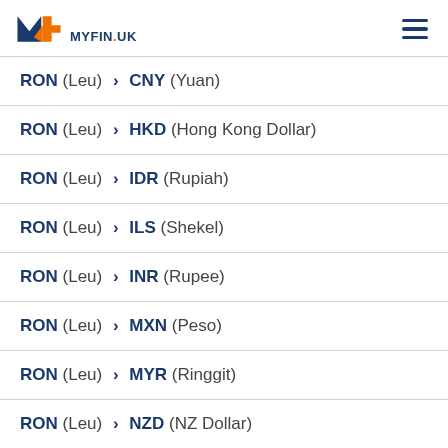MYFIN.UK
RON (Leu) > CNY (Yuan)
RON (Leu) > HKD (Hong Kong Dollar)
RON (Leu) > IDR (Rupiah)
RON (Leu) > ILS (Shekel)
RON (Leu) > INR (Rupee)
RON (Leu) > MXN (Peso)
RON (Leu) > MYR (Ringgit)
RON (Leu) > NZD (NZ Dollar)